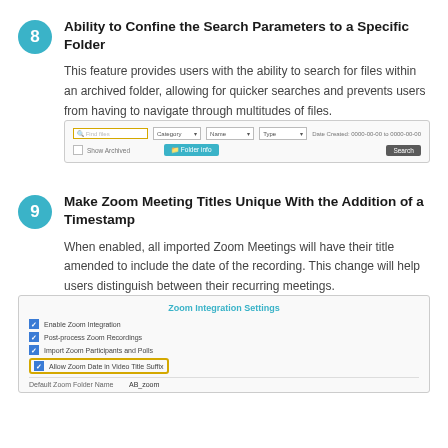8 Ability to Confine the Search Parameters to a Specific Folder
This feature provides users with the ability to search for files within an archived folder, allowing for quicker searches and prevents users from having to navigate through multitudes of files.
[Figure (screenshot): Search interface with a search bar highlighted in yellow/gold border, category dropdown, name dropdown, type dropdown, date created range fields, with a 'Folder info' button and a 'Search' button.]
9 Make Zoom Meeting Titles Unique With the Addition of a Timestamp
When enabled, all imported Zoom Meetings will have their title amended to include the date of the recording. This change will help users distinguish between their recurring meetings.
[Figure (screenshot): Zoom Integration Settings panel showing checkboxes for Enable Zoom Integration, Post-process Zoom Recordings, Import Zoom Participants and Polls, Allow Zoom Date in Video Title Suffix (highlighted with gold border), and Default Zoom Folder Name field with value 'AB zoom'.]